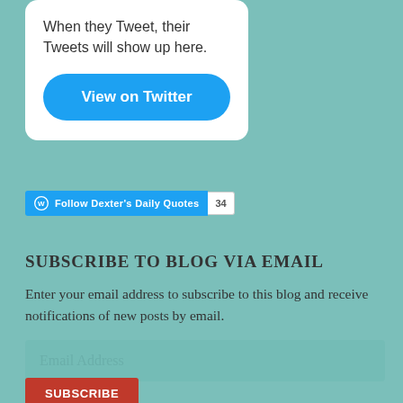[Figure (screenshot): Twitter embed widget showing text 'When they Tweet, their Tweets will show up here.' and a blue 'View on Twitter' button with rounded corners, on a white card with rounded corners.]
[Figure (screenshot): WordPress Follow button widget: blue button with WordPress icon and text 'Follow Dexter's Daily Quotes', followed by a white count badge showing '34'.]
SUBSCRIBE TO BLOG VIA EMAIL
Enter your email address to subscribe to this blog and receive notifications of new posts by email.
[Figure (screenshot): Email address input field with placeholder text 'Email Address' on a teal/green tinted background.]
[Figure (screenshot): Red Subscribe button, partially visible at bottom of page.]